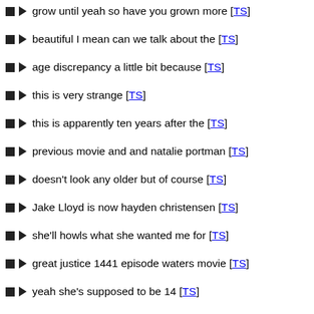grow until yeah so have you grown more [TS]
beautiful I mean can we talk about the [TS]
age discrepancy a little bit because [TS]
this is very strange [TS]
this is apparently ten years after the [TS]
previous movie and and natalie portman [TS]
doesn't look any older but of course [TS]
Jake Lloyd is now hayden christensen [TS]
she'll howls what she wanted me for [TS]
great justice 1441 episode waters movie [TS]
yeah she's supposed to be 14 [TS]
ok she was elected as Queen at 40 she [TS]